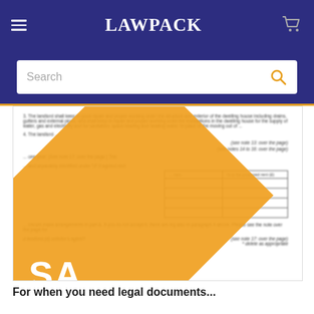LAWPACK
[Figure (screenshot): A blurred legal document page overlaid with a large orange diagonal SAMPLE watermark. The document contains numbered clauses, a small table with rows and columns, and right-aligned references to clause numbers. The document is partially obscured by the watermark.]
For when you need legal documents...